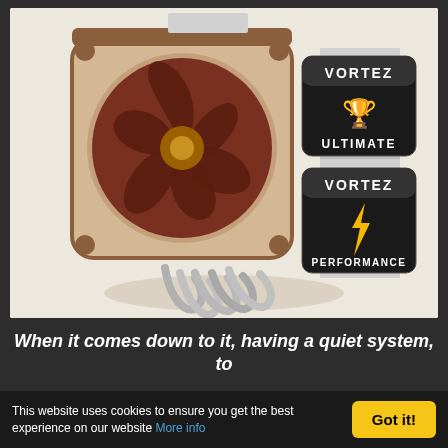[Figure (photo): Noctua CPU cooler with brown and beige fan, heat pipes, and two Vortez award badges — one 'Ultimate' with trophies and one 'Performance' with a lightning bolt — against a light beige background.]
When it comes down to it, having a quiet system, to
This website uses cookies to ensure you get the best experience on our website More info